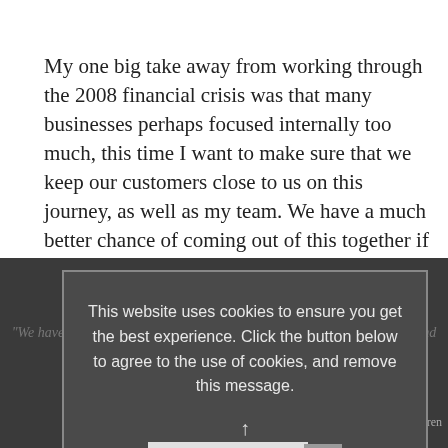My one big take away from working through the 2008 financial crisis was that many businesses perhaps focused internally too much, this time I want to make sure that we keep our customers close to us on this journey, as well as my team. We have a much better chance of coming out of this together if we stay close, stay honest and support each other.
[Figure (screenshot): Dark background section showing a cookie consent modal overlay on top of a partially visible testimonial quote. The modal reads: 'This website uses cookies to ensure you get the best experience. Click the button below to agree to the use of cookies, and remove this message.' with an 'I agree' button. Behind the modal, partially visible text reads: 'We have a much better chance of coming out of this if we stay close... and support each other.' attributed to 'Ger Groot Wesseldijk - Motion Managing Director, FraBeNelux Norgren'.]